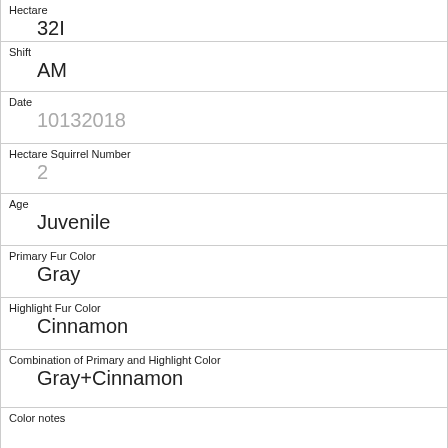| Hectare | 32I |
| Shift | AM |
| Date | 10132018 |
| Hectare Squirrel Number | 2 |
| Age | Juvenile |
| Primary Fur Color | Gray |
| Highlight Fur Color | Cinnamon |
| Combination of Primary and Highlight Color | Gray+Cinnamon |
| Color notes |  |
| Location | Above Ground |
| Above Ground Sighter Measurement |  |